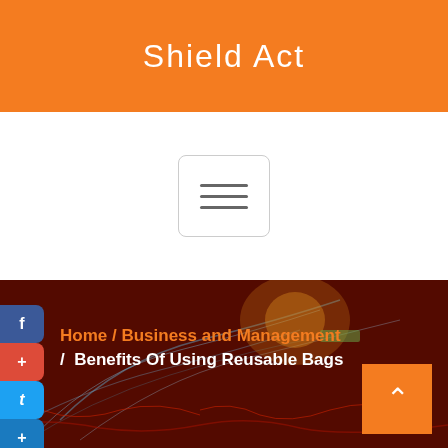Shield Act
[Figure (screenshot): Hamburger menu button with three horizontal lines, rounded border]
[Figure (photo): Dark red background hero image with glowing abstract figure and breadcrumb navigation showing Home / Business and Management / Benefits Of Using Reusable Bags]
Home / Business and Management / Benefits Of Using Reusable Bags